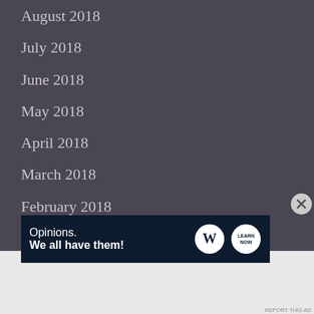August 2018
July 2018
June 2018
May 2018
April 2018
March 2018
February 2018
January 2018
December 2017
November 2017
October 2017
September 2017
Advertisements
[Figure (screenshot): Advertisement banner: 'Opinions. We all have them!' with WordPress and Learn Now logos on dark navy background]